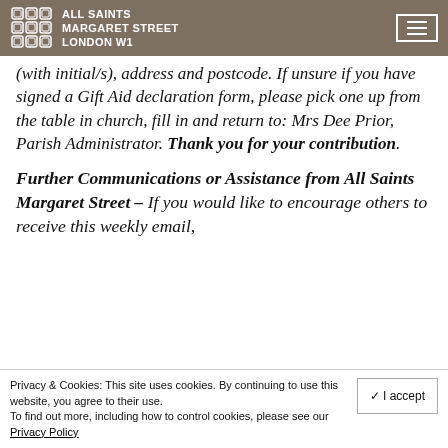ALL SAINTS MARGARET STREET LONDON W1
(with initial/s), address and postcode. If unsure if you have signed a Gift Aid declaration form, please pick one up from the table in church, fill in and return to: Mrs Dee Prior, Parish Administrator. Thank you for your contribution.
Further Communications or Assistance from All Saints Margaret Street – If you would like to encourage others to receive this weekly email,
Privacy & Cookies: This site uses cookies. By continuing to use this website, you agree to their use. To find out more, including how to control cookies, please see our Privacy Policy
✓ I accept